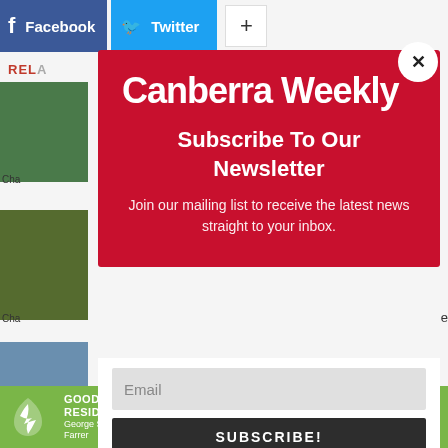[Figure (screenshot): Background of a webpage showing Facebook and Twitter social share buttons at the top, a 'REL' (related) section label, and thumbnail images on the left side]
Canberra Weekly
Subscribe To Our Newsletter
Join our mailing list to receive the latest news straight to your inbox.
Email
SUBSCRIBE!
[Figure (infographic): Goodwin Residential Care advertisement banner with logo and 'Enquire today' call-to-action button on green background]